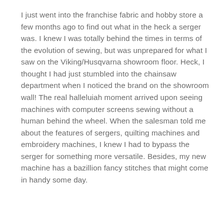I just went into the franchise fabric and hobby store a few months ago to find out what in the heck a serger was. I knew I was totally behind the times in terms of the evolution of sewing, but was unprepared for what I saw on the Viking/Husqvarna showroom floor. Heck, I thought I had just stumbled into the chainsaw department when I noticed the brand on the showroom wall! The real halleluiah moment arrived upon seeing machines with computer screens sewing without a human behind the wheel. When the salesman told me about the features of sergers, quilting machines and embroidery machines, I knew I had to bypass the serger for something more versatile. Besides, my new machine has a bazillion fancy stitches that might come in handy some day.